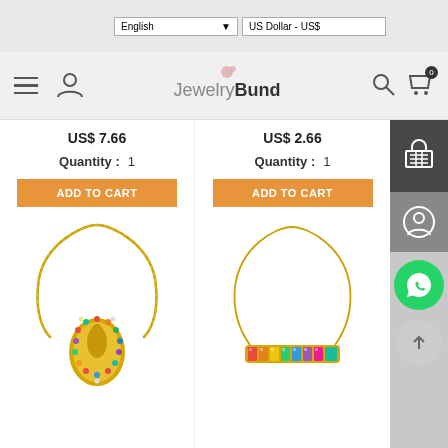[Figure (screenshot): E-commerce website screenshot for JewelryBund showing navigation bar with language selector (English) and currency (US Dollar - US$), hamburger menu, user icon, logo, search icon, shopping cart with 0 items, and two product listings with prices, quantity selectors, and Add to Cart buttons. Below shows two jewelry necklace product images: a gold Virgin Mary pendant necklace with colorful gemstones, and a rainbow baguette bar necklace.]